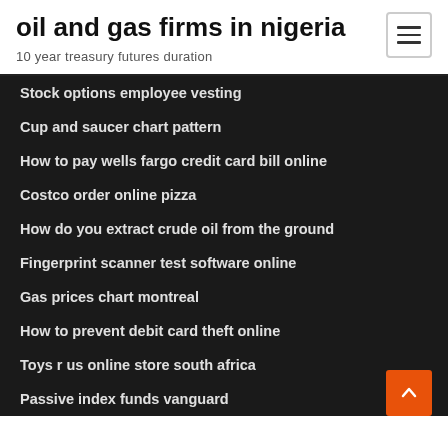oil and gas firms in nigeria
10 year treasury futures duration
Stock options employee vesting
Cup and saucer chart pattern
How to pay wells fargo credit card bill online
Costco order online pizza
How do you extract crude oil from the ground
Fingerprint scanner test software online
Gas prices chart montreal
How to prevent debit card theft online
Toys r us online store south africa
Passive index funds vanguard